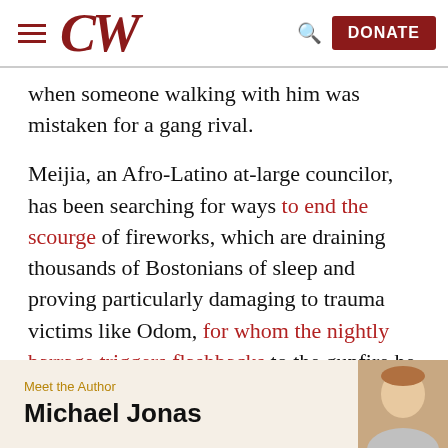CW — DONATE
when someone walking with him was mistaken for a gang rival.
Meijia, an Afro-Latino at-large councilor, has been searching for ways to end the scourge of fireworks, which are draining thousands of Bostonians of sleep and proving particularly damaging to trauma victims like Odom, for whom the nightly barrage triggers flashbacks to the gunfire he heard from his home that claimed his son's life.
Meet the Author
Michael Jonas